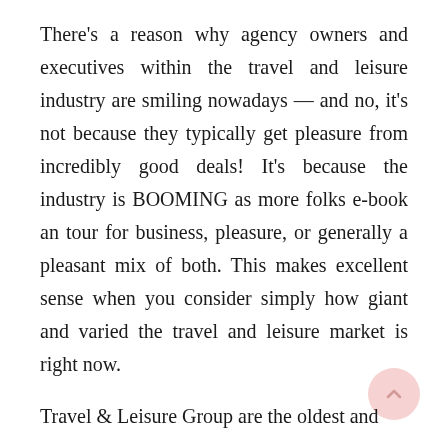There's a reason why agency owners and executives within the travel and leisure industry are smiling nowadays — and no, it's not because they typically get pleasure from incredibly good deals! It's because the industry is BOOMING as more folks e-book an tour for business, pleasure, or generally a pleasant mix of both. This makes excellent sense when you consider simply how giant and varied the travel and leisure market is right now.
Travel & Leisure Group are the oldest and